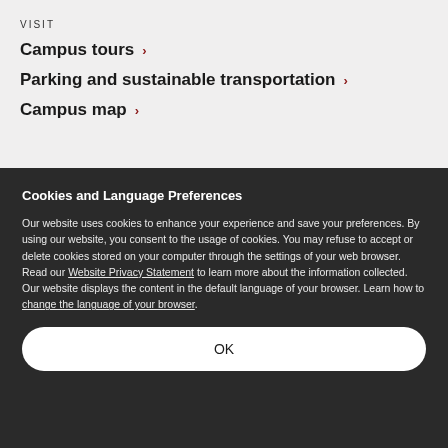VISIT
Campus tours
Parking and sustainable transportation
Campus map
Cookies and Language Preferences
Our website uses cookies to enhance your experience and save your preferences. By using our website, you consent to the usage of cookies. You may refuse to accept or delete cookies stored on your computer through the settings of your web browser. Read our Website Privacy Statement to learn more about the information collected. Our website displays the content in the default language of your browser. Learn how to change the language of your browser.
OK